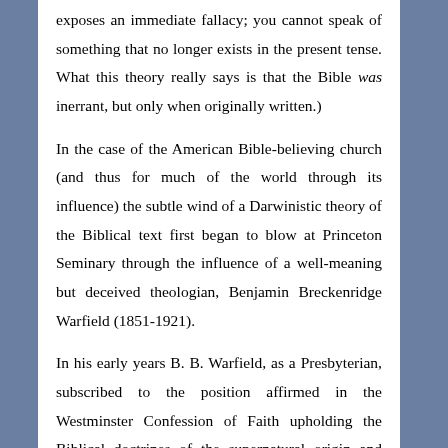exposes an immediate fallacy; you cannot speak of something that no longer exists in the present tense. What this theory really says is that the Bible was inerrant, but only when originally written.) In the case of the American Bible-believing church (and thus for much of the world through its influence) the subtle wind of a Darwinistic theory of the Biblical text first began to blow at Princeton Seminary through the influence of a well-meaning but deceived theologian, Benjamin Breckenridge Warfield (1851-1921). In his early years B. B. Warfield, as a Presbyterian, subscribed to the position affirmed in the Westminster Confession of Faith upholding the Biblical doctrines of the supernatural origin and providential preservation of the inerrant Word of God through all ages. But soon after Warfield